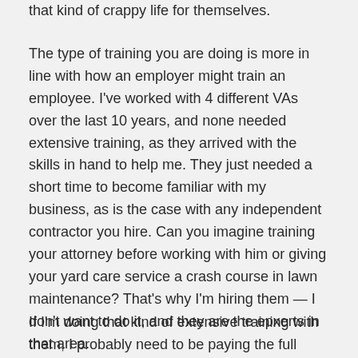that kind of crappy life for themselves.
The type of training you are doing is more in line with how an employer might train an employee. I've worked with 4 different VAs over the last 10 years, and none needed extensive training, as they arrived with the skills in hand to help me. They just needed a short time to become familiar with my business, as is the case with any independent contractor you hire. Can you imagine training your attorney before working with him or giving your yard care service a crash course in lawn maintenance? That's why I'm hiring them — I don't want to do it, and they are the epxerts in that area.
If I'm doing that kind of extensive training with them, I probably need to be paying the full